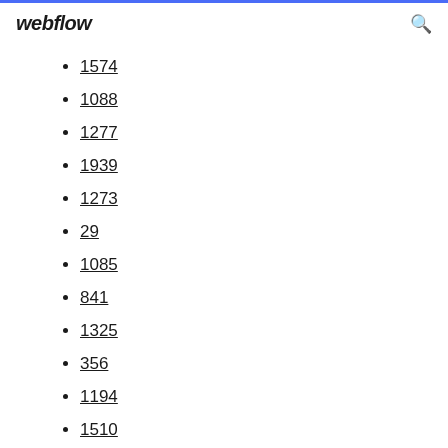webflow
1574
1088
1277
1939
1273
29
1085
841
1325
356
1194
1510
1173